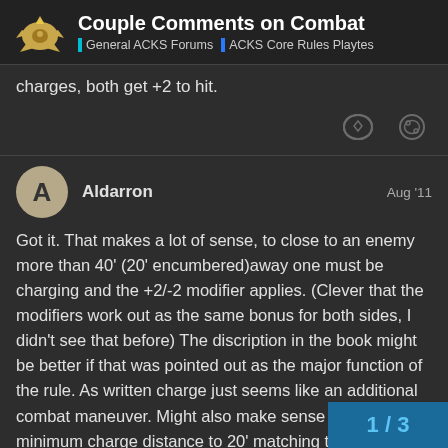Couple Comments on Combat | General ACKS Forums | ACKS Core Rules Playtes
charges, both get +2 to hit.
Aldarron  Aug '11
Got it. That makes a lot of sense, to close to an enemy more than 40' (20' encumbered)away one must be charging and the +2/-2 modifier applies. (Clever that the modifiers work out as the same bonus for both sides, I didn't see that before) The discription in the book might be better if that was pointed out as the major function of the rule. As written charge just seems like an additional combat maneuver. Might also make sense to push the minimum charge distance to 20' matching the encumbered distance. Might be a little less confusing and 20' is still a pretty short distance.
1 / 3